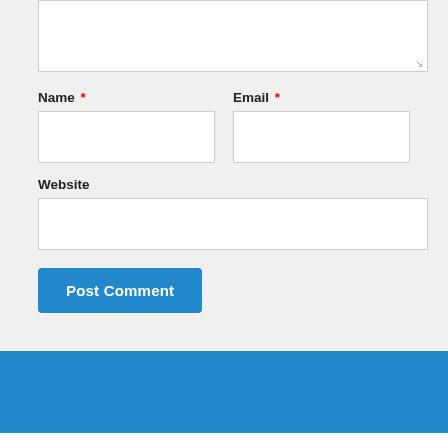Name *
Email *
Website
Post Comment
NEXT STORY
UK Politics: Join EnergyBet for 20/1 Boris Johnson to be the New Tory Leader